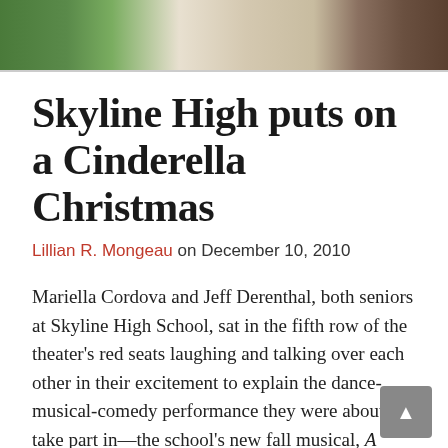[Figure (photo): Partial photo showing people in colorful costumes, green and white/cream fabrics visible, likely theatrical costume photo for Cinderella Christmas production]
Skyline High puts on a Cinderella Christmas
Lillian R. Mongeau on December 10, 2010
Mariella Cordova and Jeff Derenthal, both seniors at Skyline High School, sat in the fifth row of the theater's red seats laughing and talking over each other in their excitement to explain the dance-musical-comedy performance they were about to take part in—the school's new fall musical, A Cinderella Christmas. The pop tune infused version of the traditional Cinderella story drew hundreds of attendees on a rainy Thursday night.
D...